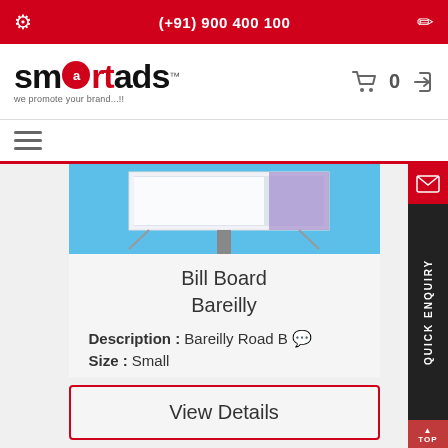(+91) 900 400 100
[Figure (logo): Smartads logo with red circle in place of 'a', tagline: we promote your brand...!!]
[Figure (other): Hamburger menu icon (three horizontal lines)]
[Figure (photo): Billboard advertising structure against blue sky]
Bill Board
Bareilly
Description : Bareilly Road B
Size : Small
View Details
[Figure (photo): Partial view of second billboard advertisement with colorful graphics]
[Figure (other): Quick Enquiry vertical sidebar button with envelope icon]